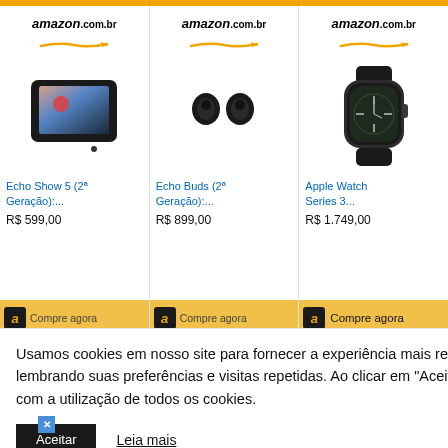[Figure (screenshot): Amazon.com.br product cards showing Echo Show 5, Echo Buds, and Apple Watch Series 3 with prices and buy buttons, overlaid by a cookie consent banner]
Usamos cookies em nosso site para fornecer a experiência mais relevante, lembrando suas preferências e visitas repetidas. Ao clicar em "Aceitar", concorda com a utilização de todos os cookies.
Aceitar
Leia mais